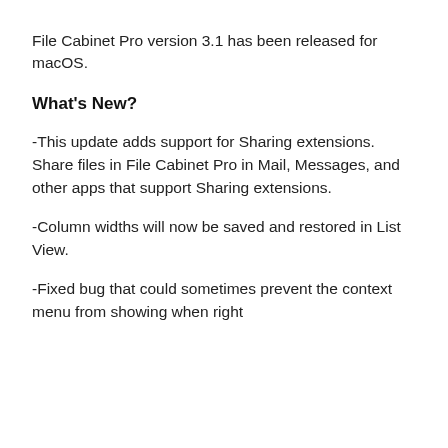File Cabinet Pro version 3.1 has been released for macOS.
What's New?
-This update adds support for Sharing extensions. Share files in File Cabinet Pro in Mail, Messages, and other apps that support Sharing extensions.
-Column widths will now be saved and restored in List View.
-Fixed bug that could sometimes prevent the context menu from showing when right